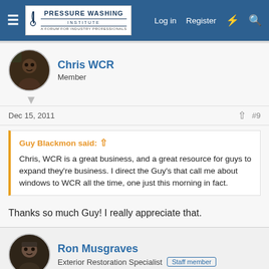Pressure Washing Institute — Log in  Register
Chris WCR
Member
Dec 15, 2011   #9
Guy Blackmon said: ↑
Chris, WCR is a great business, and a great resource for guys to expand they're business. I direct the Guy's that call me about windows to WCR all the time, one just this morning in fact.
Thanks so much Guy! I really appreciate that.
Ron Musgraves
Exterior Restoration Specialist  Staff member
Nov 10, 2013   #10